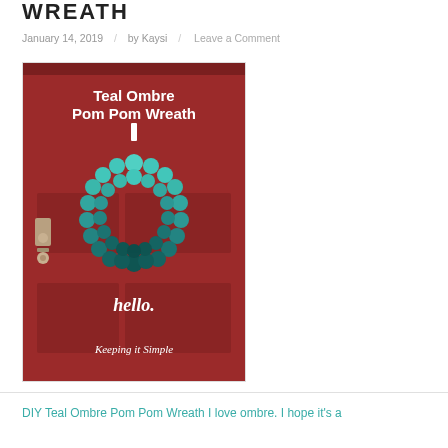WREATH
January 14, 2019  /  by Kaysi  /  Leave a Comment
[Figure (photo): A red front door with a teal ombre pom pom wreath hanging on it. White text on the door reads 'Teal Ombre Pom Pom Wreath', 'hello.', and 'Keeping it Simple'.]
DIY Teal Ombre Pom Pom Wreath I love ombre. I hope it's a